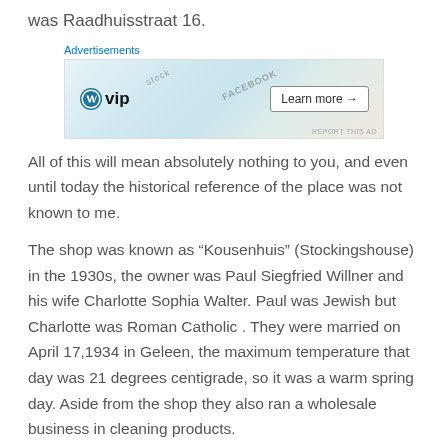was Raadhuisstraat 16.
[Figure (other): WordPress VIP advertisement banner with colorful card graphics and 'Learn more' button]
All of this will mean absolutely nothing to you, and even until today the historical reference of the place was not known to me.
The shop was known as “Kousenhuis” (Stockingshouse) in the 1930s, the owner was Paul Siegfried Willner and his wife Charlotte Sophia Walter. Paul was Jewish but Charlotte was Roman Catholic . They were married on April 17,1934 in Geleen, the maximum temperature that day was 21 degrees centigrade, so it was a warm spring day. Aside from the shop they also ran a wholesale business in cleaning products.